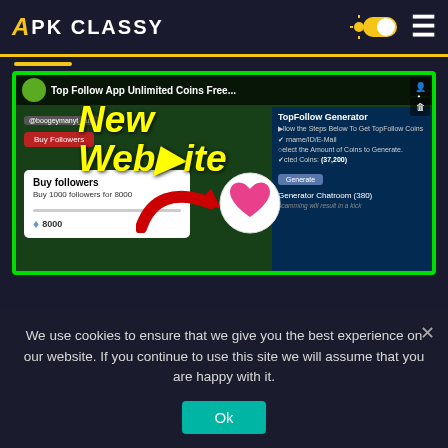APK CLASSY
[Figure (screenshot): YouTube-style video thumbnail showing 'Top Follow App Unlimited Coins Free...' with 'New Website' text overlay in yellow, a TopFollow Generator interface on the right, and a Buy followers modal on the left with a red arrow pointing to a heart icon.]
We use cookies to ensure that we give you the best experience on our website. If you continue to use this site we will assume that you are happy with it.